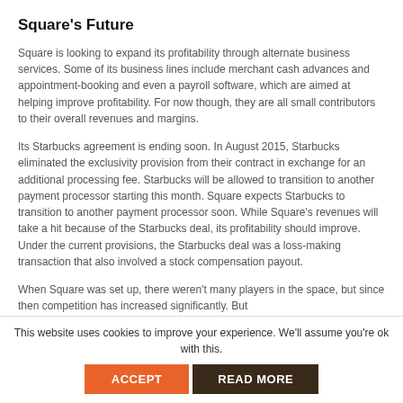Square's Future
Square is looking to expand its profitability through alternate business services. Some of its business lines include merchant cash advances and appointment-booking and even a payroll software, which are aimed at helping improve profitability. For now though, they are all small contributors to their overall revenues and margins.
Its Starbucks agreement is ending soon. In August 2015, Starbucks eliminated the exclusivity provision from their contract in exchange for an additional processing fee. Starbucks will be allowed to transition to another payment processor starting this month. Square expects Starbucks to transition to another payment processor soon. While Square's revenues will take a hit because of the Starbucks deal, its profitability should improve. Under the current provisions, the Starbucks deal was a loss-making transaction that also involved a stock compensation payout.
When Square was set up, there weren't many players in the space, but since then competition has increased significantly. But
This website uses cookies to improve your experience. We'll assume you're ok with this.